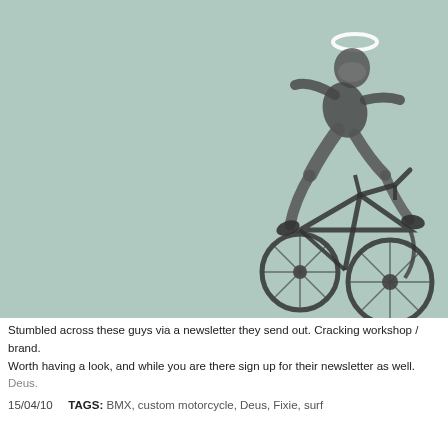[Figure (illustration): A BMX rider performing a jump trick in mid-air against a muted teal/sage green background. The rider wears a helmet and appears to have a white halo ring above their head. The bicycle is a BMX bike. The image has a halftone/grainy black and white photo style overlaid on the colored background.]
Stumbled across these guys via a newsletter they send out. Cracking workshop / brand. Worth having a look, and while you are there sign up for their newsletter as well. Deus.
15/04/10   TAGS: BMX, custom motorcycle, Deus, Fixie, surf